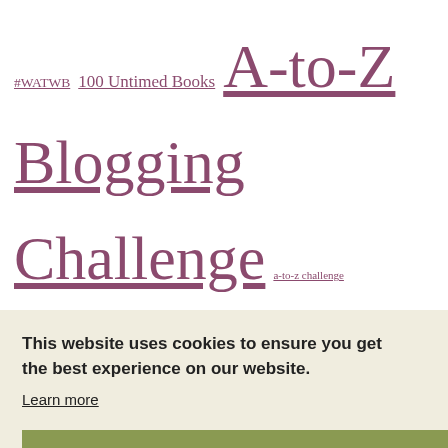#WATWB 100 Untimed Books A-to-Z Blogging Challenge a-to-z challenge abecedarium Artsyville Glue It Tuesday Bees color Connie Kaplan dream dreams equinox floriography Gratitude Hafiz ICAD Jamie Ridler journal Katherine Dunn Kat McNally Kindness Challenge Lori-Lyn Hurley Lori Moon May Flower Challenge love letters manifesto Mary Oliver miscellany moon peace metry Ram Dass reverb
This website uses cookies to ensure you get the best experience on our website.
Learn more
Got it!
All Rights